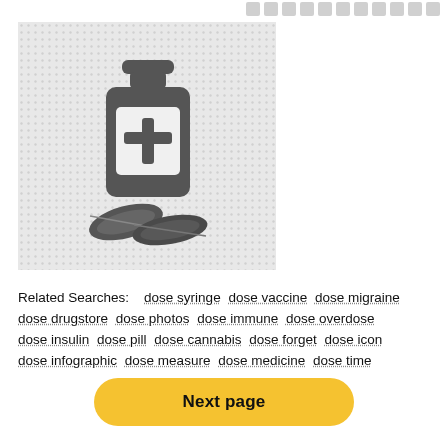[Figure (illustration): Medical pill bottle with a plus sign on its label, and two pills/tablets in front of it, on a dotted grey background]
Related Searches:    dose syringe  dose vaccine  dose migraine  dose drugstore  dose photos  dose immune  dose overdose  dose insulin  dose pill  dose cannabis  dose forget  dose icon  dose infographic  dose measure  dose medicine  dose time
Next page